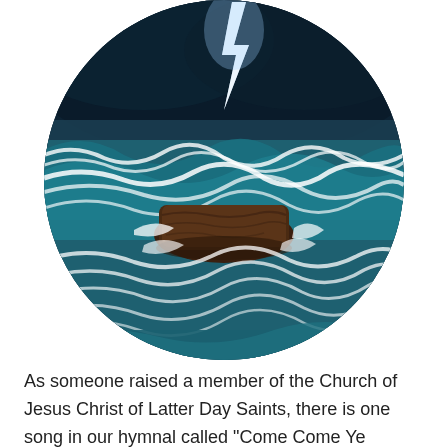[Figure (photo): A circular-cropped dramatic photograph of stormy ocean waves crashing around a large brown rock in the center, with a lightning bolt striking in the dark turbulent sky in the background. The water is teal and white with foam.]
As someone raised a member of the Church of Jesus Christ of Latter Day Saints, there is one song in our hymnal called "Come Come Ye Saints" and in a verse it states. "And should we die before our journey's through Happy day! All is well!"